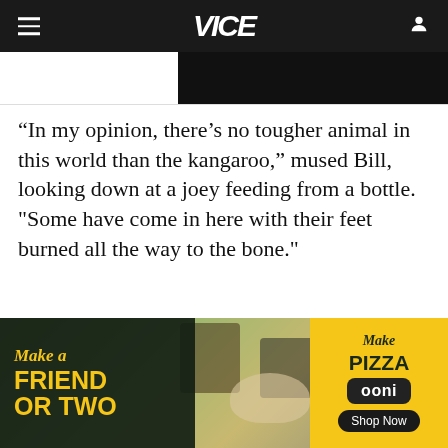VICE
[Figure (photo): Partial dark image strip at top of article]
“In my opinion, there’s no tougher animal in this world than the kangaroo,” mused Bill, looking down at a joey feeding from a bottle. "Some have come in here with their feet burned all the way to the bone."
[Figure (photo): Outdoor picnic scene with people and a dog, overlaid with Ooni pizza oven advertisement reading 'Make a Friend or Two' / 'Make Pizza' / 'ooni' / 'Shop Now']